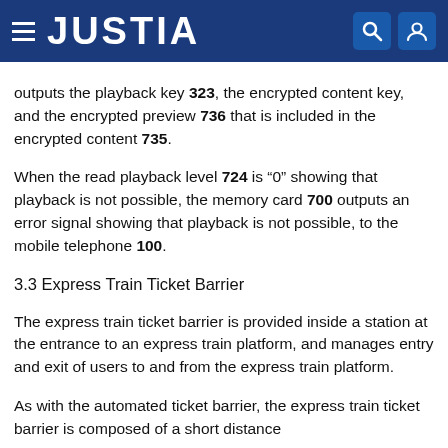JUSTIA
outputs the playback key 323, the encrypted content key, and the encrypted preview 736 that is included in the encrypted content 735.
When the read playback level 724 is “0” showing that playback is not possible, the memory card 700 outputs an error signal showing that playback is not possible, to the mobile telephone 100.
3.3 Express Train Ticket Barrier
The express train ticket barrier is provided inside a station at the entrance to an express train platform, and manages entry and exit of users to and from the express train platform.
As with the automated ticket barrier, the express train ticket barrier is composed of a short distance